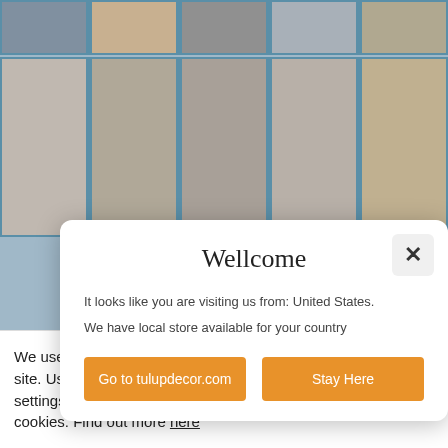[Figure (photo): Background grid of portrait photos of various people, two rows visible, blue border accents]
Wellcome
It looks like you are visiting us from: United States.
We have local store available for your country
Go to tulupdecor.com
Stay Here
We use cookies to facilitate the use of our site. Using the website without changing the settings means that you accept receiving cookies. Find out more here
© ... ight and ... e it, tu... -44